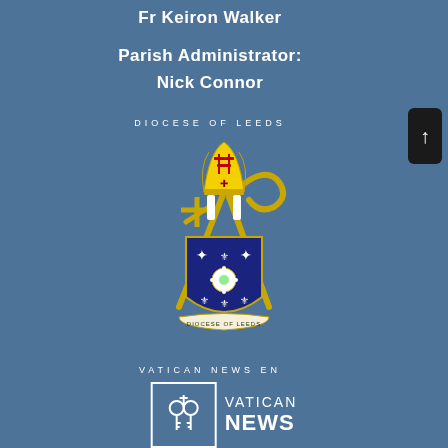Fr Keiron Walker
Parish Administrator:
Nick Connor
DIOCESE OF LEEDS
[Figure (illustration): Diocese of Leeds coat of arms showing a bishop's mitre at top, crossed staff and crozier, a blue heraldic shield with fleur-de-lis and a white Yorkshire rose, with a banner reading DIOCESE OF LEEDS at the bottom]
VATICAN NEWS EN
[Figure (logo): Vatican News logo: a square box with papal keys symbol, followed by 'VATICAN NEWS' text in white]